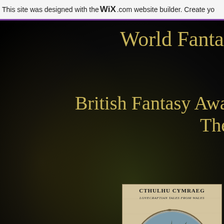This site was designed with the WIX.com website builder. Create yo
World Fantasy A
British Fantasy Award W
The a
As
[Figure (illustration): Book cover of 'Cthulhu Cymraeg: Lovecraftian Tales From Wales' featuring a circular illustration of a red dragon intertwined with a tentacled Cthulhu creature on a parchment-colored background]